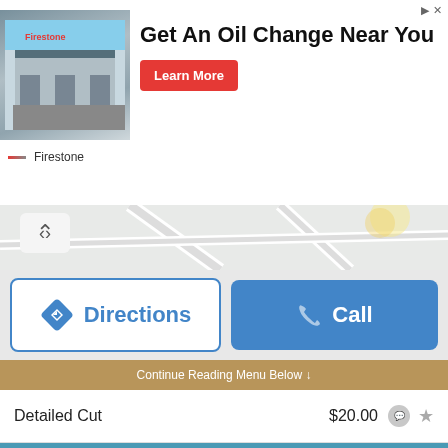[Figure (screenshot): Firestone ad banner with store image, 'Get An Oil Change Near You' text, and Learn More button]
[Figure (map): Map strip with chevron/collapse button]
Directions
Call
Continue Reading Menu Below ↓
Detailed Cut $20.00
Natural & Relaxed Services
Silk Press $55.00
Short & Sassy Style $35.00
Ceramic Press $35.00
Basic One-Step (Includes Flat Iron) $120.00